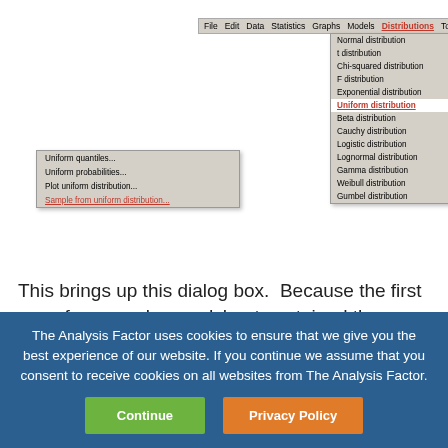[Figure (screenshot): Screenshot of a statistical software menu showing the Distributions menu expanded with Continuous distributions submenu highlighted in red, and Uniform distribution highlighted, with a further submenu showing Uniform quantiles, Uniform probabilities, Plot uniform distribution, Sample from uniform distribution options.]
This brings up this dialog box.  Because the first row of my excel spreadsheet contained the Variable
The Analysis Factor uses cookies to ensure that we give you the best experience of our website. If you continue we assume that you consent to receive cookies on all websites from The Analysis Factor.